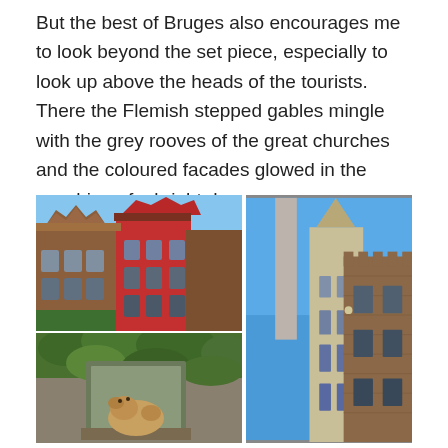But the best of Bruges also encourages me to look beyond the set piece, especially to look up above the heads of the tourists. There the Flemish stepped gables mingle with the grey rooves of the great churches and the coloured facades glowed in the sunshine of a bright day.
[Figure (photo): Three photographs of Bruges architecture: top-left shows colourful Flemish stepped gable buildings with red and terracotta facades; bottom-left shows a dog peering out of a green window surrounded by ivy-covered stone walls; right shows a tall Gothic church tower (likely the Church of Our Lady) against a blue sky, with ornate medieval brick building in foreground.]